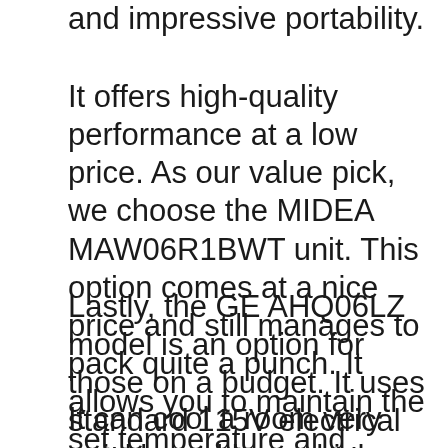and impressive portability.
It offers high-quality performance at a low price. As our value pick, we choose the MIDEA MAW06R1BWT unit. This option comes at a nice price and still manages to pack quite a punch. It allows you to maintain the set temperature and comes with three different functionalities.
Lastly, the GE AHQ06LZ model is an option for those on a budget. It uses standard 115V electrical outlet and comes with an easy to use installation kit.
It can cool a room very quickly and has a high energy efficiency ratio. We hope that this review and guide will help you to choose